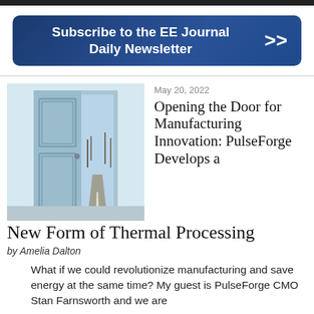[Figure (other): Dark top navigation bar]
[Figure (other): Blue banner button: Subscribe to the EE Journal Daily Newsletter with double right-arrow]
[Figure (photo): Photo of an open blue door revealing a road leading through countryside with bare trees]
May 20, 2022
Opening the Door for Manufacturing Innovation: PulseForge Develops a New Form of Thermal Processing
by Amelia Dalton
What if we could revolutionize manufacturing and save energy at the same time? My guest is PulseForge CMO Stan Farnsworth and we are